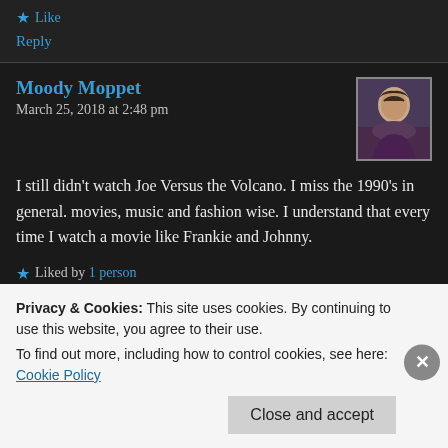Like
Reply
Moody Moppet
March 25, 2018 at 2:48 pm
[Figure (photo): Avatar photo of Moody Moppet - a person with dark hair]
I still didn't watch Joe Versus the Volcano. I miss the 1990's in general. movies, music and fashion wise. I understand that every time I watch a movie like Frankie and Johnny.
Liked by 1 person
Reply
Privacy & Cookies: This site uses cookies. By continuing to use this website, you agree to their use. To find out more, including how to control cookies, see here: Cookie Policy
Close and accept